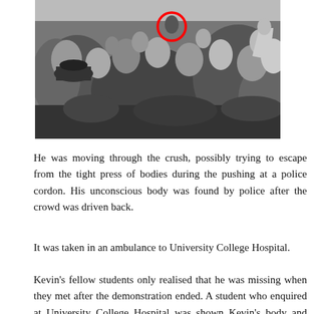[Figure (photo): Black and white photograph of a large crowd of people, with a red circle drawn around one person near the top center of the image.]
He was moving through the crush, possibly trying to escape from the tight press of bodies during the pushing at a police cordon. His unconscious body was found by police after the crowd was driven back.
It was taken in an ambulance to University College Hospital.
Kevin's fellow students only realised that he was missing when they met after the demonstration ended. A student who enquired at University College Hospital was shown Kevin's body and asked to identify him.
A coroner's inquest at St Pancras Coroner's Court concluded that Kevin's death was the result of a blow to the head from a blunt instrument. Left wing newspapers at the time blamed his death on the mounted police. Others say this was based on supposition and